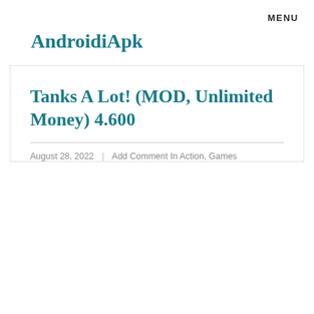MENU
AndroidiApk
Tanks A Lot! (MOD, Unlimited Money) 4.600
August 28, 2022   Add Comment In Action, Games